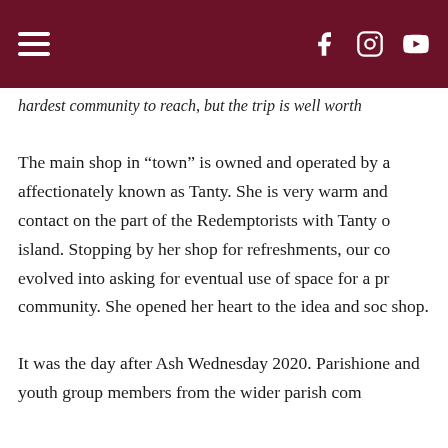[hamburger menu] [Facebook] [Instagram] [YouTube]
hardest community to reach, but the trip is well worth
The main shop in “town” is owned and operated by a affectionately known as Tanty. She is very warm and contact on the part of the Redemptorists with Tanty o island. Stopping by her shop for refreshments, our co evolved into asking for eventual use of space for a pr community. She opened her heart to the idea and soc shop.
It was the day after Ash Wednesday 2020. Parishione and youth group members from the wider parish com